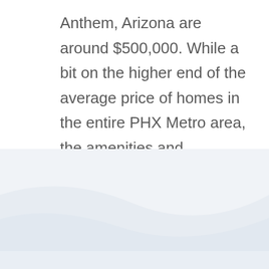Anthem, Arizona are around $500,000. While a bit on the higher end of the average price of homes in the entire PHX Metro area, the amenities and infrastructure offered in Anthem makes it well worth the cost; country clubs, restaurants, an 18 hole golf course, club houses and plenty of paved trails.
[Figure (illustration): Decorative light blue and white diagonal wave shapes at the bottom of the page]